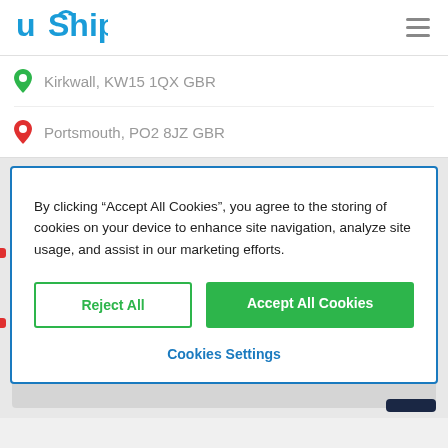[Figure (logo): uShip logo with blue text and arrow icon]
Kirkwall, KW15 1QX GBR
Portsmouth, PO2 8JZ GBR
By clicking “Accept All Cookies”, you agree to the storing of cookies on your device to enhance site navigation, analyze site usage, and assist in our marketing efforts.
Reject All
Accept All Cookies
Cookies Settings